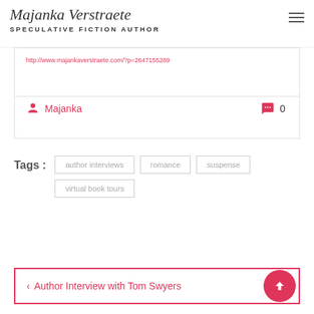Majanka Verstraete SPECULATIVE FICTION AUTHOR
http://www.majankaverstraete.com/?p=2647155289
Majanka  0
Tags :  author interviews  romance  suspense  virtual book tours
< Author Interview with Tom Swyers